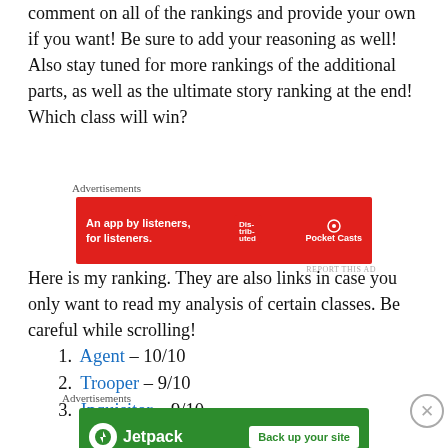comment on all of the rankings and provide your own if you want! Be sure to add your reasoning as well! Also stay tuned for more rankings of the additional parts, as well as the ultimate story ranking at the end! Which class will win?
[Figure (other): Advertisement banner for Pocket Casts app - red background with text 'An app by listeners, for listeners.' and Pocket Casts logo with phone graphic]
Here is my ranking. They are also links in case you only want to read my analysis of certain classes. Be careful while scrolling!
Agent – 10/10
Trooper – 9/10
Inquisitor – 9/10
[Figure (other): Advertisement banner for Jetpack - green background with Jetpack logo and 'Back up your site' button]